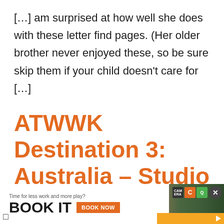[…] am surprised at how well she does with these letter find pages. (Her older brother never enjoyed these, so be sure skip them if your child doesn't care for […]
ATWWK Destination 3: Australia – Studio Xtine
says:
[Figure (screenshot): Advertisement banner at the bottom of the page. Shows 'Time for less work and more play? BOOK IT' text with a 'BOOK NOW' orange button, logos/icons in the top right corner, a close button, and an orange play button strip at bottom right. Background shows a blurred scene with a person.]